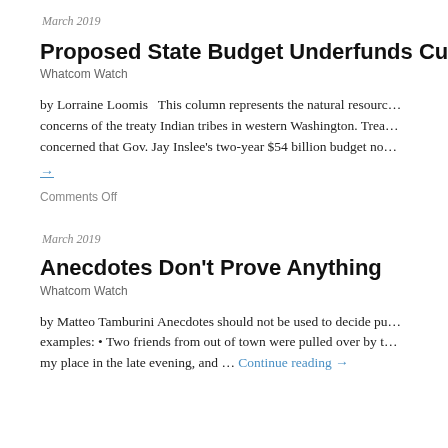March 2019
Proposed State Budget Underfunds Culv…
Whatcom Watch
by Lorraine Loomis   This column represents the natural resource concerns of the treaty Indian tribes in western Washington. Trea… concerned that Gov. Jay Inslee's two-year $54 billion budget no…
→
Comments Off
March 2019
Anecdotes Don't Prove Anything
Whatcom Watch
by Matteo Tamburini Anecdotes should not be used to decide pu… examples: • Two friends from out of town were pulled over by t… my place in the late evening, and … Continue reading →